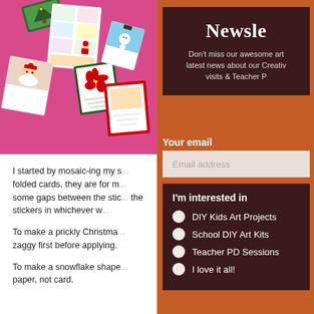[Figure (photo): Christmas sticker cards scattered on a pink background — various holiday themed cards including Santa, Christmas trees, and decorative designs]
I started by mosaic-ing my s... folded cards, they are for m... some gaps between the stic... the stickers in whichever wa...
To make a prickly Christma... zaggy first before applying.
To make a snowflake shape... paper, not card.
Newsle...
Don't miss our awesome art ... latest news about our Creativ... visits & Teacher P...
Your email
Email address
I'm interested in
DIY Kids Art Projects
School DIY Art Kits
Teacher PD Sessions
I love it all!